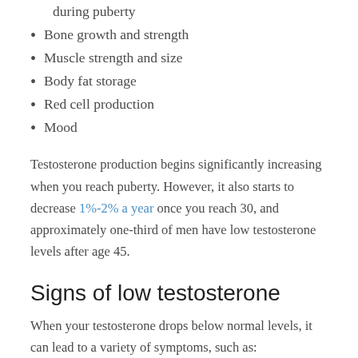during puberty
Bone growth and strength
Muscle strength and size
Body fat storage
Red cell production
Mood
Testosterone production begins significantly increasing when you reach puberty. However, it also starts to decrease 1%-2% a year once you reach 30, and approximately one-third of men have low testosterone levels after age 45.
Signs of low testosterone
When your testosterone drops below normal levels, it can lead to a variety of symptoms, such as:
Reduced sex drive, fertility issues, and erectile